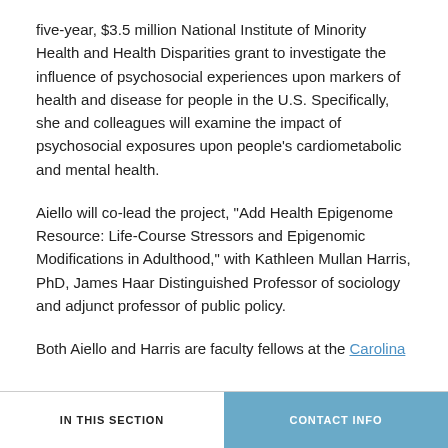five-year, $3.5 million National Institute of Minority Health and Health Disparities grant to investigate the influence of psychosocial experiences upon markers of health and disease for people in the U.S. Specifically, she and colleagues will examine the impact of psychosocial exposures upon people's cardiometabolic and mental health.
Aiello will co-lead the project, "Add Health Epigenome Resource: Life-Course Stressors and Epigenomic Modifications in Adulthood," with Kathleen Mullan Harris, PhD, James Haar Distinguished Professor of sociology and adjunct professor of public policy.
Both Aiello and Harris are faculty fellows at the Carolina
IN THIS SECTION   CONTACT INFO